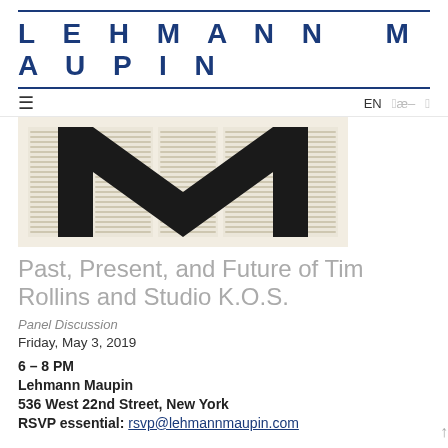LEHMANN MAUPIN
[Figure (photo): Artwork by Tim Rollins and Studio K.O.S. showing a large black letter M shape over newsprint/book pages on a cream background]
Past, Present, and Future of Tim Rollins and Studio K.O.S.
Panel Discussion
Friday, May 3, 2019
6 – 8 PM
Lehmann Maupin
536 West 22nd Street, New York
RSVP essential: rsvp@lehmannmaupin.com